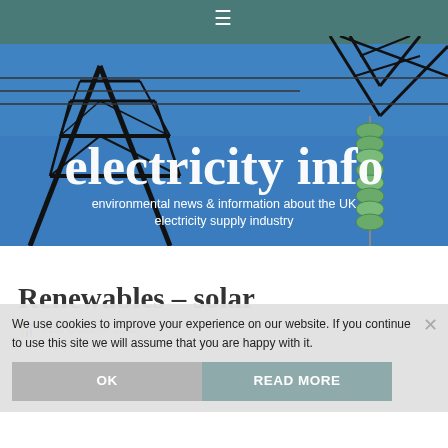≡
[Figure (photo): Electricity pylon against blue sky with insulators, serving as hero banner image for the electricity info website]
electricity info
environmental news & information about the UK electricity supply industry
Renewables – solar
31st October 2016
We use cookies to improve your experience on our website. If you continue to use this site we will assume that you are happy with it.
They call it the solarcoaster. Since the first silicon photovoltaic cells were developed in the 1950s, the solar power industry has been on a switchback of highs and lows, driven by shifts in energy